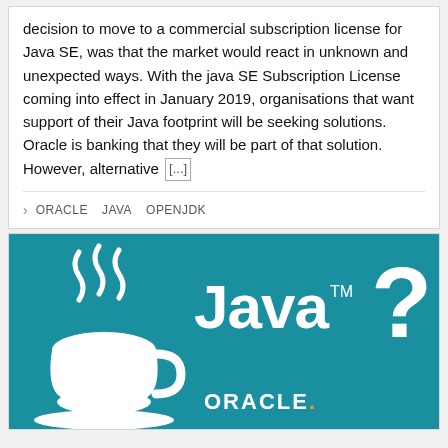decision to move to a commercial subscription license for Java SE, was that the market would react in unknown and unexpected ways. With the java SE Subscription License coming into effect in January 2019, organisations that want support of their Java footprint will be seeking solutions. Oracle is banking that they will be part of that solution. However, alternative [...]
ORACLE  JAVA  OPENJDK
[Figure (logo): Java logo with Oracle branding on teal background. Shows Java steaming coffee cup icon on left, with 'Java™ ?' text in white and 'ORACLE.' text at bottom center.]